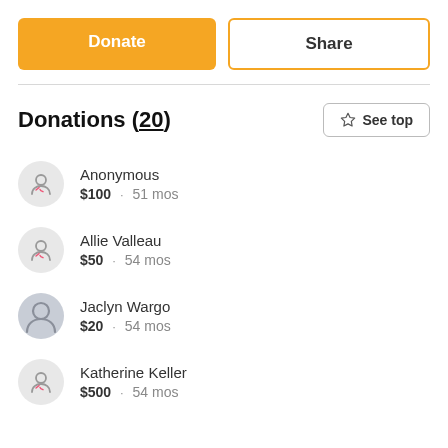Donate
Share
Donations (20)
See top
Anonymous · $100 · 51 mos
Allie Valleau · $50 · 54 mos
Jaclyn Wargo · $20 · 54 mos
Katherine Keller · $500 · 54 mos